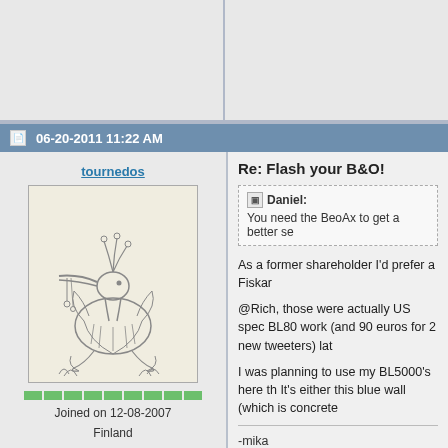06-20-2011 11:22 AM
tournedos
[Figure (photo): Avatar image of a stylized bird-like creature playing a flute, black and white illustration]
Joined on 12-08-2007
Finland
Posts 5,808
Re: Flash your B&O!
Daniel:
You need the BeoAx to get a better se
As a former shareholder I'd prefer a Fiskar
@Rich, those were actually US spec BL80 work (and 90 euros for 2 new tweeters) lat
I was planning to use my BL5000's here th It's either this blue wall (which is concrete
-mika